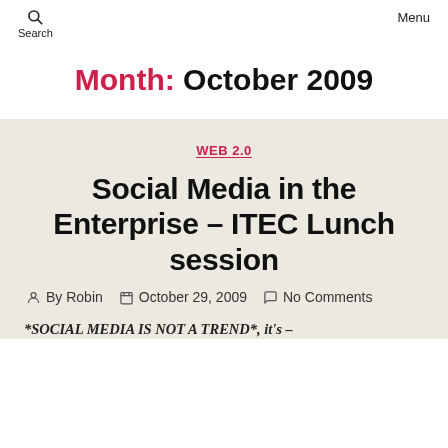Search  Menu
Month: October 2009
WEB 2.0
Social Media in the Enterprise – ITEC Lunch session
By Robin  October 29, 2009  No Comments
*SOCIAL MEDIA IS NOT A TREND*, it's –